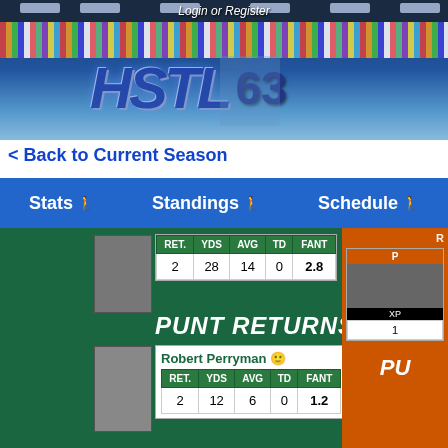[Figure (screenshot): HSTL fantasy football website banner with stadium background, colorful crowd, and HSTL 63 logo with mascot]
Login or Register
HSTL 63
< Back to Current Season
Stats | Standings | Schedule
| RET. | YDS | AVG | TD | FANT |
| --- | --- | --- | --- | --- |
| 2 | 28 | 14 | 0 | 2.8 |
PUNT RETURNS
Robert Perryman
| RET. | YDS | AVG | TD | FANT |
| --- | --- | --- | --- | --- |
| 2 | 12 | 6 | 0 | 1.2 |
[Figure (screenshot): Right orange panel showing player card with XP value of 1 and PUNT RETURNS section header]